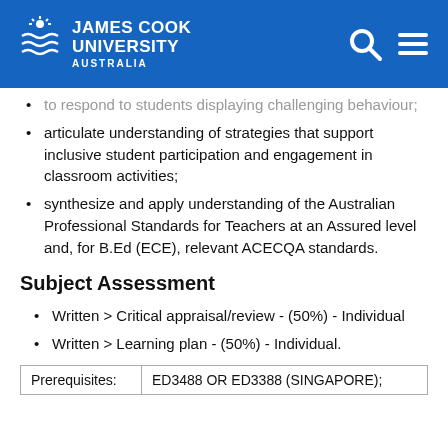[Figure (logo): James Cook University Australia logo with navigation icons on blue header bar]
to respond to students displaying challenging behaviour;
articulate understanding of strategies that support inclusive student participation and engagement in classroom activities;
synthesize and apply understanding of the Australian Professional Standards for Teachers at an Assured level and, for B.Ed (ECE), relevant ACECQA standards.
Subject Assessment
Written > Critical appraisal/review - (50%) - Individual
Written > Learning plan - (50%) - Individual.
| Prerequisites: | ED3488 OR ED3388 (SINGAPORE); |
| --- | --- |